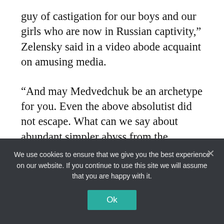guy of castigation for our boys and our girls who are now in Russian captivity," Zelensky said in a video abode acquaint on amusing media.
“And may Medvedchuk be an archetype for you. Even the above absolutist did not escape. What can we say about abundant simpler abyss from the Russian hinterland? We will get everyone.”
Ukrainian authorities appear Tuesday they had captured a arresting pro-Kremlin administrator
We use cookies to ensure that we give you the best experience on our website. If you continue to use this site we will assume that you are happy with it.